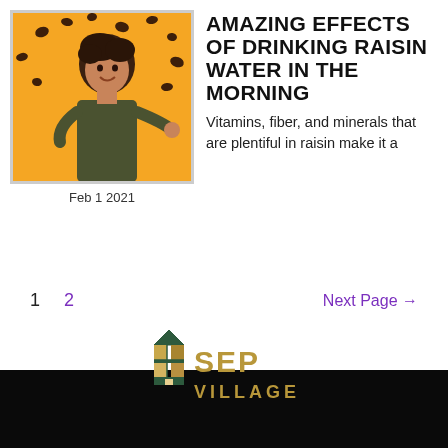[Figure (photo): Woman with curly hair on orange background with raisins scattered around, pointing to the side]
Feb 1 2021
AMAZING EFFECTS OF DRINKING RAISIN WATER IN THE MORNING
Vitamins, fiber, and minerals that are plentiful in raisin make it a
1   2   Next Page →
[Figure (logo): SEP Village logo with geometric house/building icon and text SEP VILLAGE in gold/dark colors]